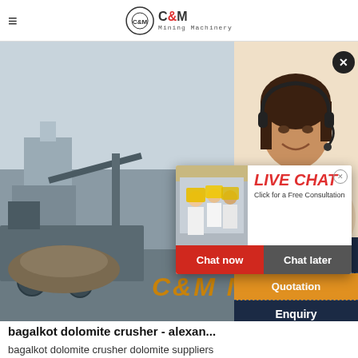C&M Mining Machinery
[Figure (screenshot): Website screenshot showing C&M Mining Machinery page with a banner image of mining equipment and a live chat popup overlay with workers in hard hats. A customer service agent with headset is shown on the right side. The popup has 'LIVE CHAT - Click for a Free Consultation' with 'Chat now' and 'Chat later' buttons. Right sidebar shows Quotation, Enquiry, drobilkalm@gmail.com, and Chat options on dark navy background.]
bagalkot dolomite crusher - alexan...
bagalkot dolomite crusher dolomite suppliers in